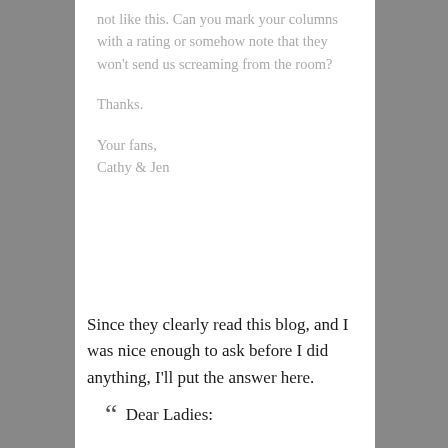not like this. Can you mark your columns with a rating or somehow note that they won't send us screaming from the room?
Thanks.
Your fans,
Cathy & Jen
Since they clearly read this blog, and I was nice enough to ask before I did anything, I'll put the answer here.
“  Dear Ladies: